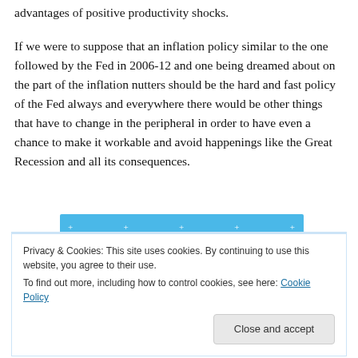advantages of positive productivity shocks.
If we were to suppose that an inflation policy similar to the one followed by the Fed in 2006-12 and one being dreamed about on the part of the inflation nutters should be the hard and fast policy of the Fed always and everywhere there would be other things that have to change in the peripheral in order to have even a chance to make it workable and avoid happenings like the Great Recession and all its consequences.
Privacy & Cookies: This site uses cookies. By continuing to use this website, you agree to their use.
To find out more, including how to control cookies, see here: Cookie Policy